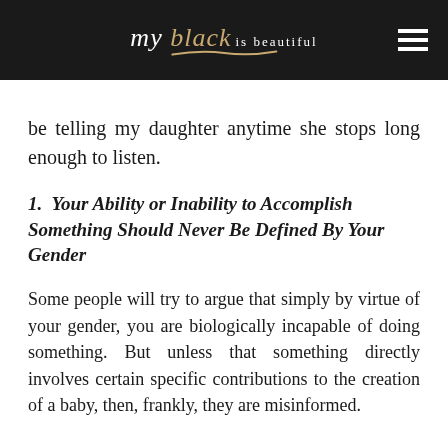[Figure (logo): My Black is Beautiful logo on black background with decorative golden swoosh underline and hamburger menu icon]
be telling my daughter anytime she stops long enough to listen.
1.  Your Ability or Inability to Accomplish Something Should Never Be Defined By Your Gender
Some people will try to argue that simply by virtue of your gender, you are biologically incapable of doing something. But unless that something directly involves certain specific contributions to the creation of a baby, then, frankly, they are misinformed.